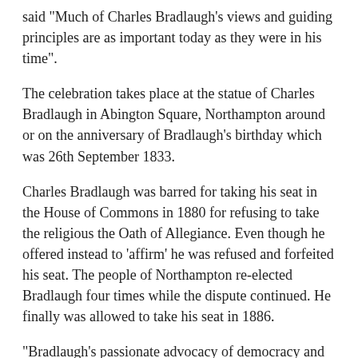said "Much of Charles Bradlaugh's views and guiding principles are as important today as they were in his time".
The celebration takes place at the statue of Charles Bradlaugh in Abington Square, Northampton around or on the anniversary of Bradlaugh's birthday which was 26th September 1833.
Charles Bradlaugh was barred for taking his seat in the House of Commons in 1880 for refusing to take the religious the Oath of Allegiance. Even though he offered instead to 'affirm' he was refused and forfeited his seat. The people of Northampton re-elected Bradlaugh four times while the dispute continued. He finally was allowed to take his seat in 1886.
"Bradlaugh's passionate advocacy of democracy and the widening of the vote to working men and women gives us an example today of how hard fought our basic rights are. With increasing disenchantment with modern day politics we should look to the work of reformers like Bradlaugh in how we should deal with the present crisis in our